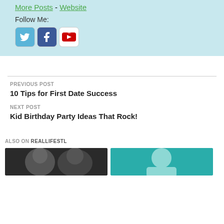More Posts - Website
Follow Me:
[Figure (illustration): Social media icons: Twitter, Facebook, YouTube]
PREVIOUS POST
10 Tips for First Date Success
NEXT POST
Kid Birthday Party Ideas That Rock!
ALSO ON REALLIFESTL
[Figure (photo): Two black and white portrait photos and one color photo of a woman]
[Figure (photo): Color photo of a woman against teal background]